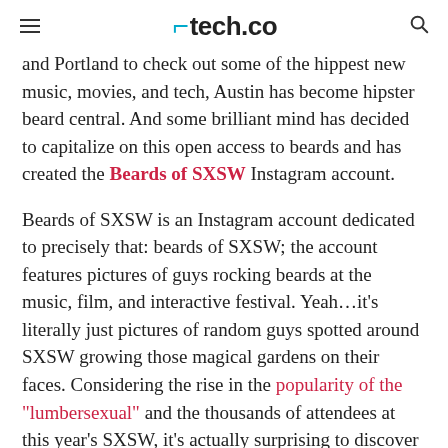tech.co
and Portland to check out some of the hippest new music, movies, and tech, Austin has become hipster beard central. And some brilliant mind has decided to capitalize on this open access to beards and has created the Beards of SXSW Instagram account.
Beards of SXSW is an Instagram account dedicated to precisely that: beards of SXSW; the account features pictures of guys rocking beards at the music, film, and interactive festival. Yeah…it's literally just pictures of random guys spotted around SXSW growing those magical gardens on their faces. Considering the rise in the popularity of the "lumbersexual" and the thousands of attendees at this year's SXSW, it's actually surprising to discover that the Instagram account has less than 300